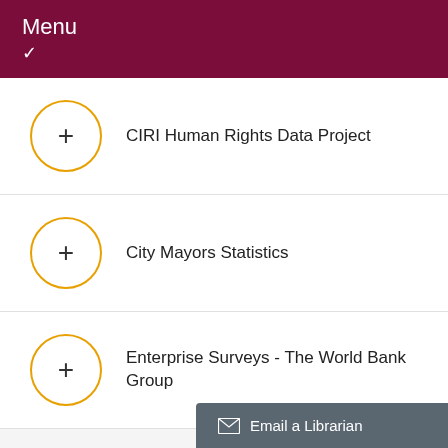Menu
CIRI Human Rights Data Project
City Mayors Statistics
Enterprise Surveys - The World Bank Group
Email a Librarian